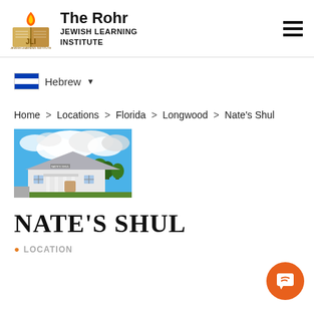The Rohr JEWISH LEARNING INSTITUTE
[Figure (logo): JLI logo with flame and open book]
Hebrew ▾
Home > Locations > Florida > Longwood > Nate's Shul
[Figure (photo): Exterior photo of Nate's Shul building with blue sky and clouds]
NATE'S SHUL
LOCATION